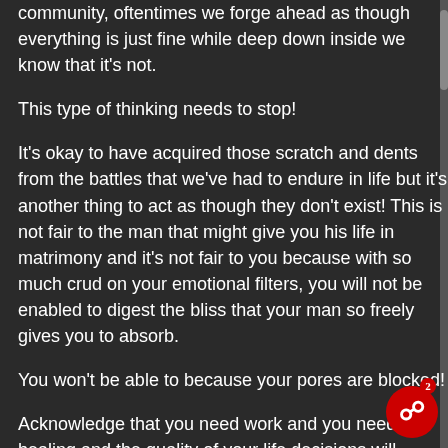community, oftentimes we forge ahead as though everything is just fine while deep down inside we know that it's not.
This type of thinking needs to stop!
It's okay to have acquired those scratch and dents from the battles that we've had to endure in life but it's another thing to act as though they don't exist! This is not fair to the man that might give you his life in matrimony and it's not fair to you because with so much crud on your emotional filters, you will not be enabled to digest the bliss that your man so freely gives you to absorb.
You won't be able to because your pores are blocked!
Acknowledge that you need work and you need healing and the quality of your life decisions will improve as well as that overall sense of well being that one experiences from having a venom free life that has put way all things negative and has actually banished and vanished all of the scratches and dents that you used to have because you will be a new creature saved from